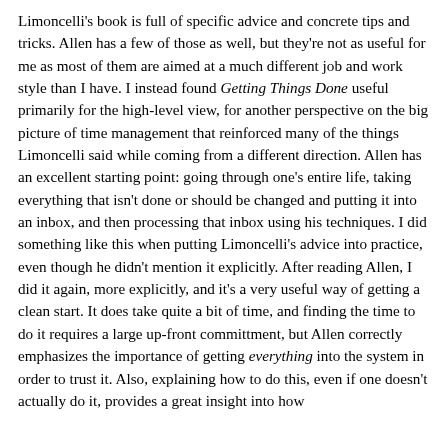Limoncelli's book is full of specific advice and concrete tips and tricks. Allen has a few of those as well, but they're not as useful for me as most of them are aimed at a much different job and work style than I have. I instead found Getting Things Done useful primarily for the high-level view, for another perspective on the big picture of time management that reinforced many of the things Limoncelli said while coming from a different direction. Allen has an excellent starting point: going through one's entire life, taking everything that isn't done or should be changed and putting it into an inbox, and then processing that inbox using his techniques. I did something like this when putting Limoncelli's advice into practice, even though he didn't mention it explicitly. After reading Allen, I did it again, more explicitly, and it's a very useful way of getting a clean start. It does take quite a bit of time, and finding the time to do it requires a large up-front committment, but Allen correctly emphasizes the importance of getting everything into the system in order to trust it. Also, explaining how to do this, even if one doesn't actually do it, provides a great insight into how